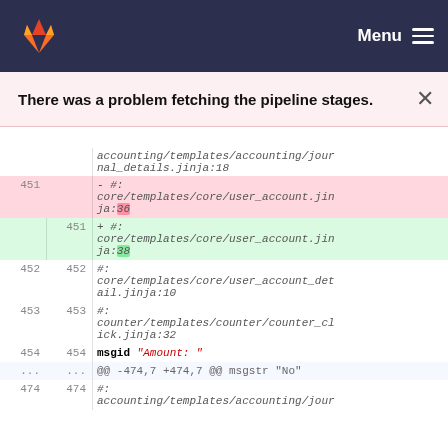GitLab logo | Menu
There was a problem fetching the pipeline stages. ×
| old-ln | new-ln | code |
| --- | --- | --- |
|  |  | accounting/templates/accounting/journal_details.jinja:18 |
| 451 |  | - #:
core/templates/core/user_account.jinja:36 |
|  | 451 | + #:
core/templates/core/user_account.jinja:38 |
| 452 | 452 | #:
core/templates/core/user_account_detail.jinja:10 |
| 453 | 453 | #:
counter/templates/counter/counter_click.jinja:32 |
| 454 | 454 | msgid "Amount: " |
| ... | ... | @@ -474,7 +474,7 @@ msgstr "No" |
| 474 | 474 | #:
accounting/templates/accounting/jour |